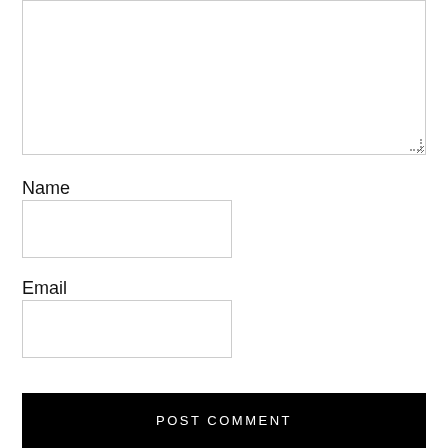[Figure (screenshot): Large empty textarea input box with resize handle at bottom-right corner]
Name
[Figure (screenshot): Name text input field, empty]
Email
[Figure (screenshot): Email text input field, empty]
POST COMMENT